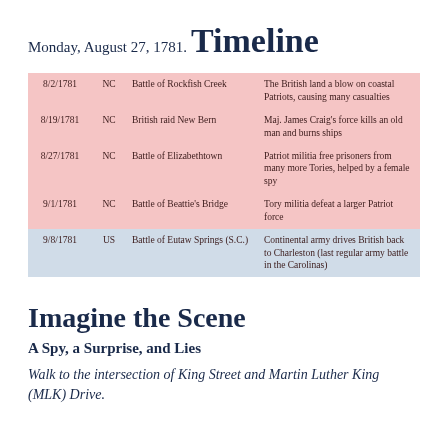Monday, August 27, 1781.
Timeline
| 8/2/1781 | NC | Battle of Rockfish Creek | The British land a blow on coastal Patriots, causing many casualties |
| 8/19/1781 | NC | British raid New Bern | Maj. James Craig's force kills an old man and burns ships |
| 8/27/1781 | NC | Battle of Elizabethtown | Patriot militia free prisoners from many more Tories, helped by a female spy |
| 9/1/1781 | NC | Battle of Beattie's Bridge | Tory militia defeat a larger Patriot force |
| 9/8/1781 | US | Battle of Eutaw Springs (S.C.) | Continental army drives British back to Charleston (last regular army battle in the Carolinas) |
Imagine the Scene
A Spy, a Surprise, and Lies
Walk to the intersection of King Street and Martin Luther King (MLK) Drive.